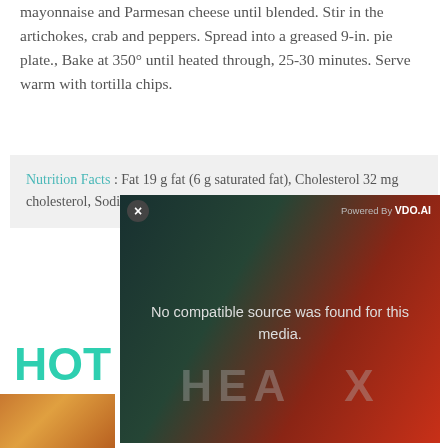mayonnaise and Parmesan cheese until blended. Stir in the artichokes, crab and peppers. Spread into a greased 9-in. pie plate., Bake at 350° until heated through, 25-30 minutes. Serve warm with tortilla chips.
Nutrition Facts : Fat 19 g fat (6 g saturated fat), Cholesterol 32 mg cholesterol, Sodium 272 mg sodium, 0 fiber,
HOT ARTICHOKE DIP